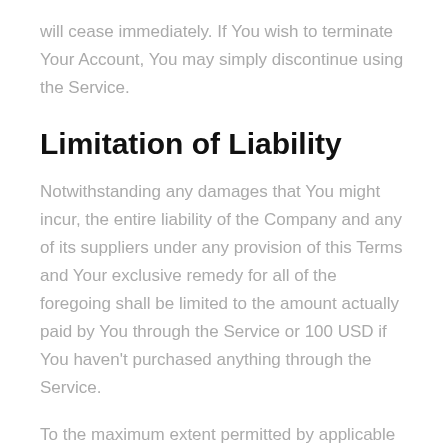will cease immediately. If You wish to terminate Your Account, You may simply discontinue using the Service.
Limitation of Liability
Notwithstanding any damages that You might incur, the entire liability of the Company and any of its suppliers under any provision of this Terms and Your exclusive remedy for all of the foregoing shall be limited to the amount actually paid by You through the Service or 100 USD if You haven't purchased anything through the Service.
To the maximum extent permitted by applicable law, in no event shall the Company or its